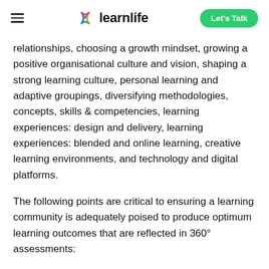learnlife — Let's Talk
relationships, choosing a growth mindset, growing a positive organisational culture and vision, shaping a strong learning culture, personal learning and adaptive groupings, diversifying methodologies, concepts, skills & competencies, learning experiences: design and delivery, learning experiences: blended and online learning, creative learning environments, and technology and digital platforms.
The following points are critical to ensuring a learning community is adequately poised to produce optimum learning outcomes that are reflected in 360° assessments: